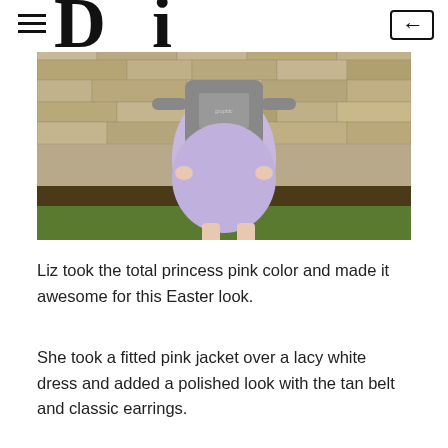≡  [logo partial]  ←
[Figure (photo): A person wearing a gray sweatshirt and a light lavender/purple skirt standing in front of a stone wall, wearing pink flip-flops, on a grassy ground.]
Liz took the total princess pink color and made it awesome for this Easter look.
She took a fitted pink jacket over a lacy white dress and added a polished look with the tan belt and classic earrings.